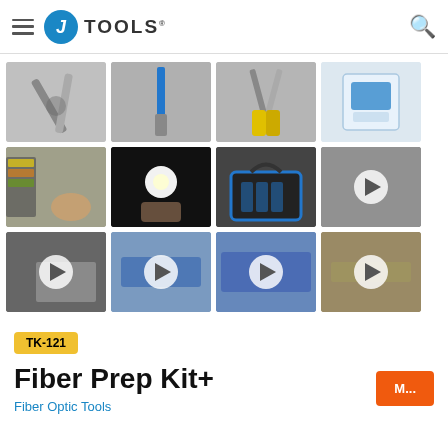J TOOLS
[Figure (photo): Grid of 12 product and video thumbnails showing fiber optic tools, screwdrivers, pliers, tool bags, and instructional videos]
TK-121
Fiber Prep Kit+
Fiber Optic Tools
M...